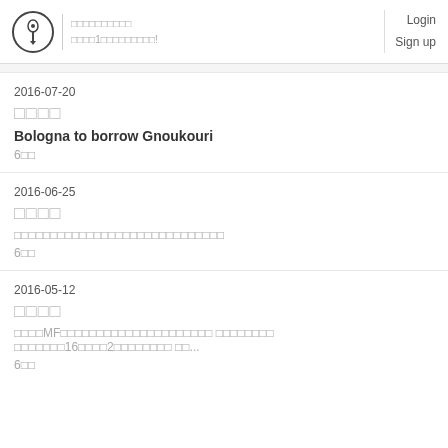ログインページ / あなた1人のためのブログ！ | Login | Sign up
2016-07-20
□□□□
Bologna to borrow Gnoukouri
6件
2016-06-25
□□□□
□□□□□□□□□□□□□□□□□□□□□□□□□□□□□
6件
2016-05-12
□□□□
□□□□MF□□□□□□□□□□□□□□□□□□□□□ □□□□□□□□ □□□□□□□16□□□□2□□□□□□□□ □□...
6件